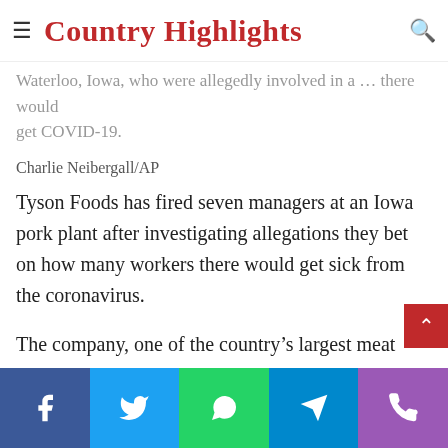Country Highlights
Waterloo, Iowa, who were allegedly involved in a … there would get COVID-19.
Charlie Neibergall/AP
Tyson Foods has fired seven managers at an Iowa pork plant after investigating allegations they bet on how many workers there would get sick from the coronavirus.
The company, one of the country’s largest meat suppliers, launched an independent investigation into the complaints last month, suspending without pay the managers allegedly involved. The investigation was led by former U.S. Attorney General Eric Holder
Facebook | Twitter | WhatsApp | Telegram | Phone